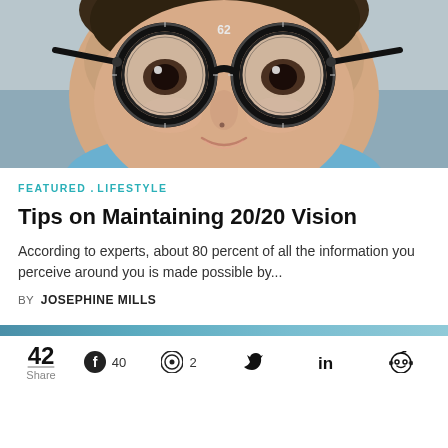[Figure (photo): Close-up photo of a child wearing large black trial frame glasses with the number 62 visible on the lens, smiling slightly. The child is wearing a blue shirt.]
FEATURED  LIFESTYLE
Tips on Maintaining 20/20 Vision
According to experts, about 80 percent of all the information you perceive around you is made possible by...
BY  JOSEPHINE MILLS
[Figure (other): Horizontal teal/blue progress bar]
42 Share  40  2